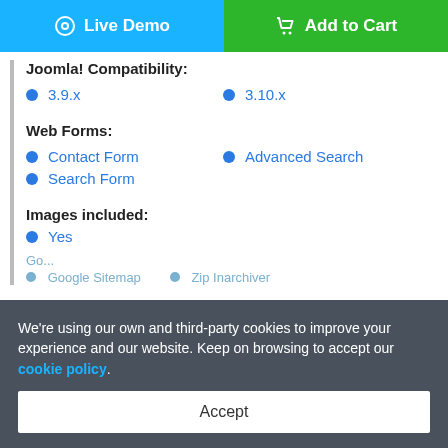[Figure (screenshot): Live Demo and Add to Cart buttons at top]
Joomla! Compatibility:
3.9.x
3.10.x
Web Forms:
Contact Form
Advanced Search
Search Form
Images included:
Yes
We're using our own and third-party cookies to improve your experience and our website. Keep on browsing to accept our cookie policy.
Accept